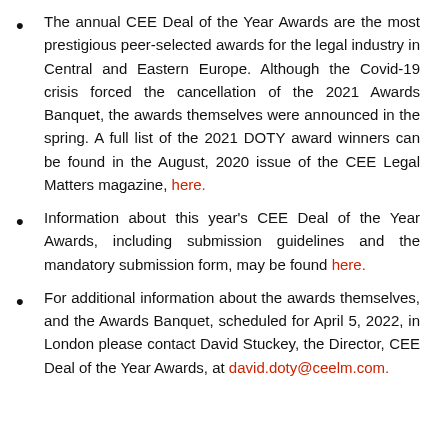The annual CEE Deal of the Year Awards are the most prestigious peer-selected awards for the legal industry in Central and Eastern Europe. Although the Covid-19 crisis forced the cancellation of the 2021 Awards Banquet, the awards themselves were announced in the spring. A full list of the 2021 DOTY award winners can be found in the August, 2020 issue of the CEE Legal Matters magazine, here.
Information about this year's CEE Deal of the Year Awards, including submission guidelines and the mandatory submission form, may be found here.
For additional information about the awards themselves, and the Awards Banquet, scheduled for April 5, 2022, in London please contact David Stuckey, the Director, CEE Deal of the Year Awards, at david.doty@ceelm.com.